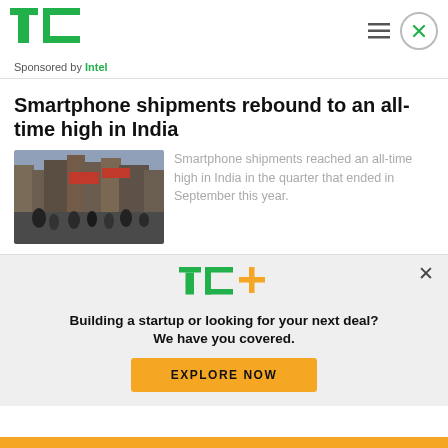[Figure (logo): TechCrunch TC logo in green]
Sponsored by Intel
Smartphone shipments rebound to an all-time high in India
[Figure (photo): Street scene in India with people and signs]
Smartphone shipments reached an all-time high in India in the quarter that ended in September this year.
[Figure (logo): TechCrunch TC+ logo in green and yellow]
Building a startup or looking for your next deal? We have you covered.
EXPLORE NOW